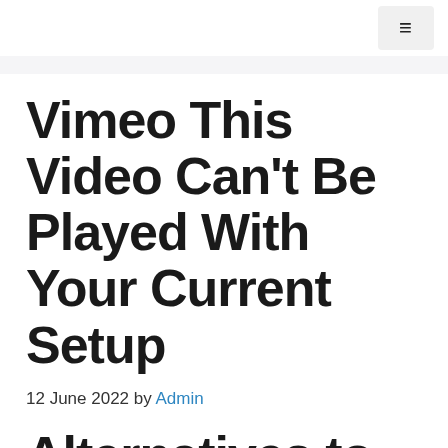≡
Vimeo This Video Can't Be Played With Your Current Setup
12 June 2022 by Admin
Alternatives to